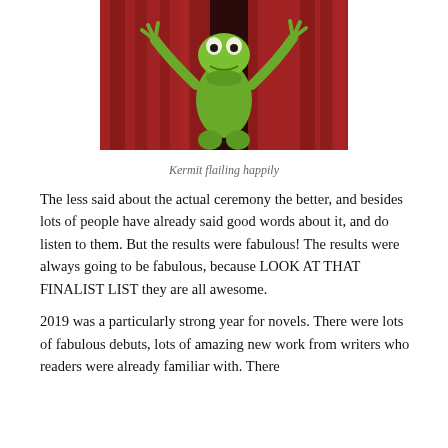[Figure (photo): Kermit the Frog flailing arms happily in front of red velvet curtains]
Kermit flailing happily
The less said about the actual ceremony the better, and besides lots of people have already said good words about it, and do listen to them. But the results were fabulous! The results were always going to be fabulous, because LOOK AT THAT FINALIST LIST they are all awesome.
2019 was a particularly strong year for novels. There were lots of fabulous debuts, lots of amazing new work from writers who readers were already familiar with. There